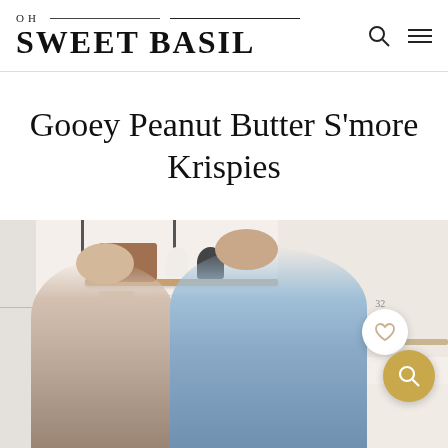OH SWEET BASIL
Gooey Peanut Butter S'more Krispies
[Figure (photo): Two women smiling in a bright kitchen with floating wooden shelves stocked with kitchen items; one woman has darker hair and wears blue, the other has lighter hair and looks down; heart (32 likes) and search buttons overlaid on the image.]